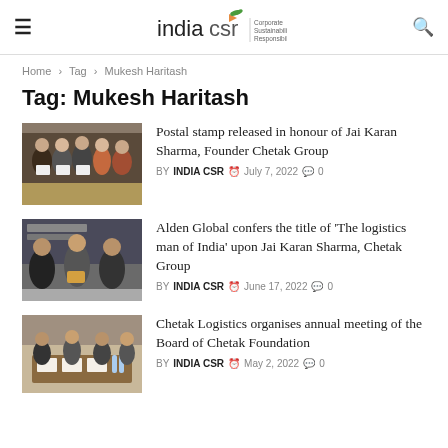indiacsr | Corporate Sustainability & Responsibility
Home > Tag > Mukesh Haritash
Tag: Mukesh Haritash
[Figure (photo): People holding certificates/documents at an event]
Postal stamp released in honour of Jai Karan Sharma, Founder Chetak Group
BY INDIA CSR  July 7, 2022  0
[Figure (photo): Three men in suits at an awards/conference event]
Alden Global confers the title of 'The logistics man of India' upon Jai Karan Sharma, Chetak Group
BY INDIA CSR  June 17, 2022  0
[Figure (photo): People seated around a table at a board meeting]
Chetak Logistics organises annual meeting of the Board of Chetak Foundation
BY INDIA CSR  May 2, 2022  0